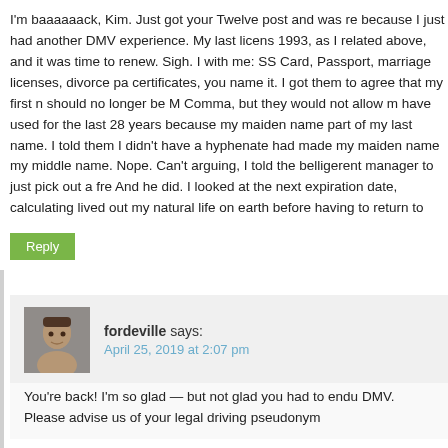I'm baaaaaack, Kim. Just got your Twelve post and was re because I just had another DMV experience. My last licens 1993, as I related above, and it was time to renew. Sigh. I with me: SS Card, Passport, marriage licenses, divorce pa certificates, you name it. I got them to agree that my first n should no longer be M Comma, but they would not allow m have used for the last 28 years because my maiden name part of my last name. I told them I didn't have a hyphenate had made my maiden name my middle name. Nope. Can't arguing, I told the belligerent manager to just pick out a fre And he did. I looked at the next expiration date, calculating lived out my natural life on earth before having to return to
Reply
fordeville says:
April 25, 2019 at 2:07 pm
You're back! I'm so glad — but not glad you had to endu DMV. Please advise us of your legal driving pseudonym